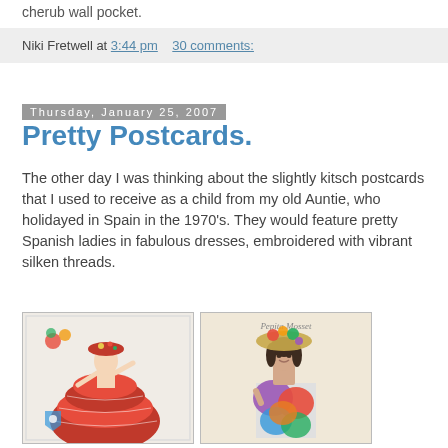cherub wall pocket.
Niki Fretwell at 3:44 pm   30 comments:
Thursday, January 25, 2007
Pretty Postcards.
The other day I was thinking about the slightly kitsch postcards that I used to receive as a child from my old Auntie, who holidayed in Spain in the 1970's. They would feature pretty Spanish ladies in fabulous dresses, embroidered with vibrant silken threads.
[Figure (photo): Vintage embroidered postcard of a Spanish flamenco dancer in a red ruffled dress with a red hat, with decorative embroidered flowers and a shield emblem]
[Figure (photo): Vintage embroidered postcard of a woman (Pepita Mosset) in a colourful embroidered dress with a large decorative hat with fruit and flowers]